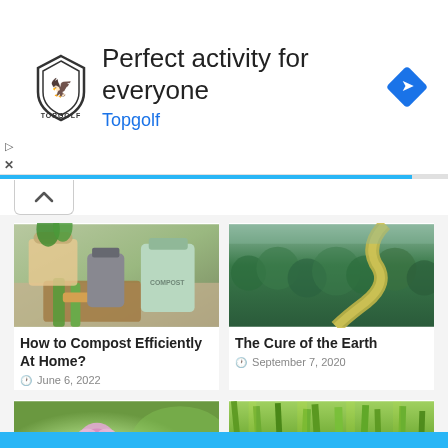[Figure (screenshot): Topgolf advertisement banner with logo, text 'Perfect activity for everyone' and 'Topgolf' in blue, with navigation arrow icon]
[Figure (photo): Compost bin with vegetables and plants on a wooden cutting board]
[Figure (photo): Aerial view of a river winding through a dense green Amazon forest]
How to Compost Efficiently At Home?
June 6, 2022
The Cure of the Earth
September 7, 2020
[Figure (photo): Close-up of a pink clover flower with green leaves in soft focus background]
[Figure (photo): Green grass or plant shoots growing from soil with bulbs visible]